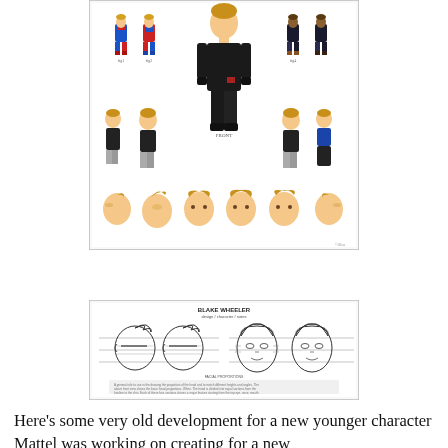[Figure (illustration): Character design sheet showing multiple costume variants of a young male superhero character with blonde hair. Top row shows colorful spandex-style costumes (blue/red and blue variations). Center shows a large full-body view in a dark tactical/military outfit. Smaller figures show variations in grey pants and dark jacket. Bottom row shows six head/face studies from different angles with stylized blonde pompadour hair.]
[Figure (illustration): Pencil/sketch character model sheet titled 'BLAKE WHEELER' showing two side-profile head sketches (left facing right) and two front-facing head sketches, with technical proportion lines and small text annotations below. Black and white line art on white background.]
Here's some very old development for a new younger character Mattel was working on creating for a new